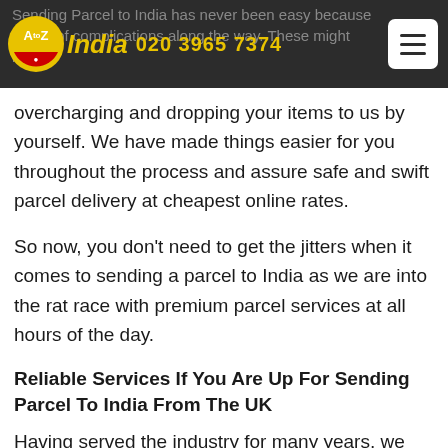Sending Parcel to India has never been easy because of lots of complications along the way. These might include overcharging and dropping your items to us by yourself.
overcharging and dropping your items to us by yourself. We have made things easier for you throughout the process and assure safe and swift parcel delivery at cheapest online rates.
So now, you don't need to get the jitters when it comes to sending a parcel to India as we are into the rat race with premium parcel services at all hours of the day.
Reliable Services If You Are Up For Sending Parcel To India From The UK
Having served the industry for many years, we feel proud to claim that our services are matchless as compared to the rivals. With a hassle-free door to door, door to port, port to port and port to door cargo shipping facilities on the board, we could assure our customers that we would be...